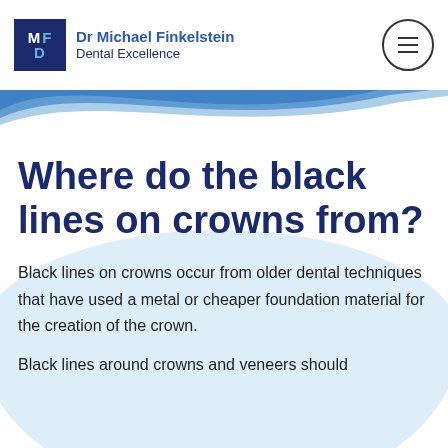Dr Michael Finkelstein Dental Excellence
Where do the black lines on crowns from?
Black lines on crowns occur from older dental techniques that have used a metal or cheaper foundation material for the creation of the crown.
Black lines around crowns and veneers should